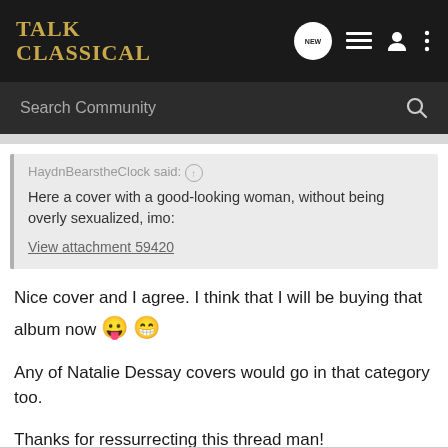TALK CLASSICAL
Search Community
HaydnBearstheClock said: ↑
Here a cover with a good-looking woman, without being overly sexualized, imo:

View attachment 59420
Nice cover and I agree. I think that I will be buying that album now 😛😁
Any of Natalie Dessay covers would go in that category too.
Thanks for ressurrecting this thread man!